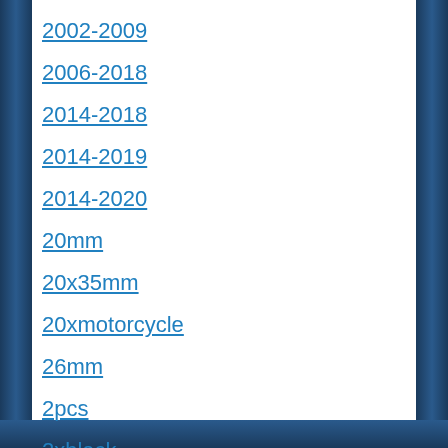2002-2009
2006-2018
2014-2018
2014-2019
2014-2020
20mm
20x35mm
20xmotorcycle
26mm
2pcs
2xblack
2xmotorcycle
325ti
33-2494